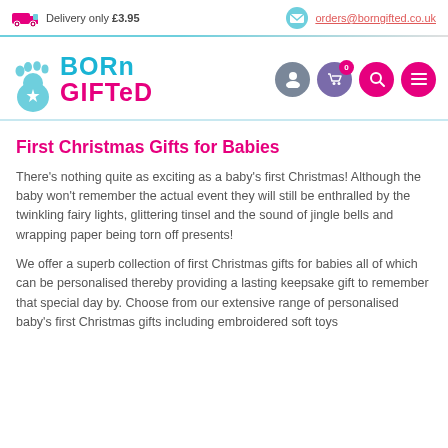Delivery only £3.95 | orders@borngifted.co.uk
[Figure (logo): Born Gifted logo with baby footprint and colourful text]
First Christmas Gifts for Babies
There's nothing quite as exciting as a baby's first Christmas! Although the baby won't remember the actual event they will still be enthralled by the twinkling fairy lights, glittering tinsel and the sound of jingle bells and wrapping paper being torn off presents!
We offer a superb collection of first Christmas gifts for babies all of which can be personalised thereby providing a lasting keepsake gift to remember that special day by. Choose from our extensive range of personalised baby's first Christmas gifts including embroidered soft toys